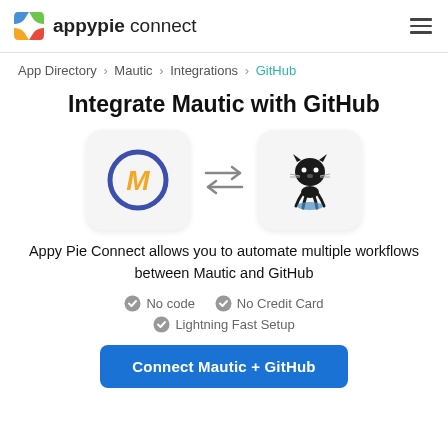appypie connect
App Directory > Mautic > Integrations > GitHub
Integrate Mautic with GitHub
[Figure (illustration): Mautic logo icon (blue ring with gold M) and GitHub Octocat logo with two-headed arrows between them]
Appy Pie Connect allows you to automate multiple workflows between Mautic and GitHub
No code
No Credit Card
Lightning Fast Setup
Connect Mautic + GitHub